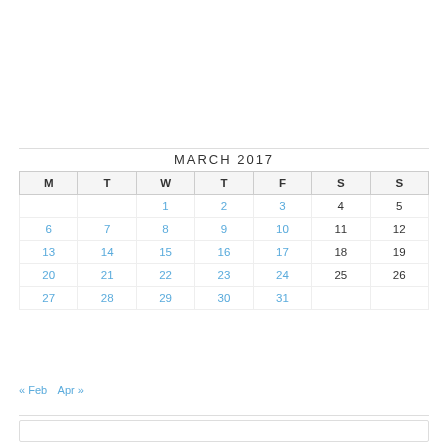[Figure (other): Grid of follower/subscriber avatar images arranged in 4 rows of approximately 11 icons each]
| M | T | W | T | F | S | S |
| --- | --- | --- | --- | --- | --- | --- |
|  |  | 1 | 2 | 3 | 4 | 5 |
| 6 | 7 | 8 | 9 | 10 | 11 | 12 |
| 13 | 14 | 15 | 16 | 17 | 18 | 19 |
| 20 | 21 | 22 | 23 | 24 | 25 | 26 |
| 27 | 28 | 29 | 30 | 31 |  |  |
« Feb   Apr »